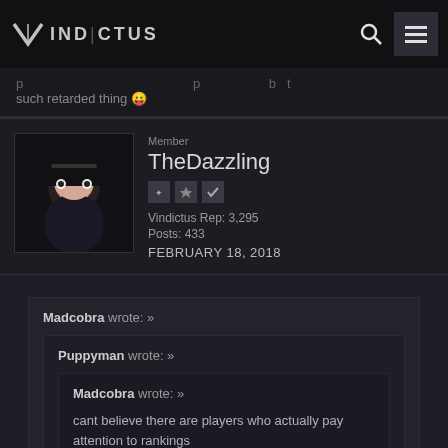VINDICTUS
such retarded thing 😛
Member
TheDazzling
Vindictus Rep: 3,295
Posts: 433
FEBRUARY 18, 2018
Madcobra wrote: »
Puppyman wrote: »
Madcobra wrote: »
cant believe there are players who actually pay attention to rankings